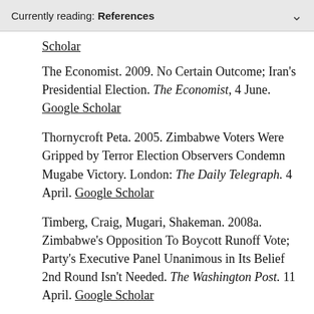Currently reading: References
Scholar
The Economist. 2009. No Certain Outcome; Iran's Presidential Election. The Economist, 4 June. Google Scholar
Thornycroft Peta. 2005. Zimbabwe Voters Were Gripped by Terror Election Observers Condemn Mugabe Victory. London: The Daily Telegraph. 4 April. Google Scholar
Timberg, Craig, Mugari, Shakeman. 2008a. Zimbabwe's Opposition To Boycott Runoff Vote; Party's Executive Panel Unanimous in Its Belief 2nd Round Isn't Needed. The Washington Post. 11 April. Google Scholar